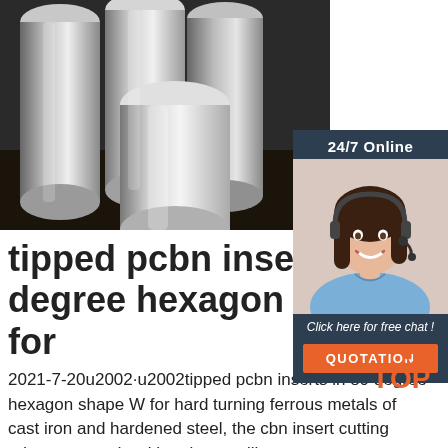[Figure (photo): Close-up photograph of multiple shiny cylindrical steel rods or bars arranged diagonally on a dark surface]
[Figure (photo): Sidebar widget showing a female customer service agent wearing a headset, smiling, with '24/7 Online' header, 'Click here for free chat!' text, and an orange QUOTATION button]
tipped pcbn inserts in 80 degree hexagon shape W for
2021-7-20u2002·u2002tipped pcbn inserts in 80 degree hexagon shape W for hard turning ferrous metals of cast iron and hardened steel, the cbn insert cutting edges are made with polycrystalline